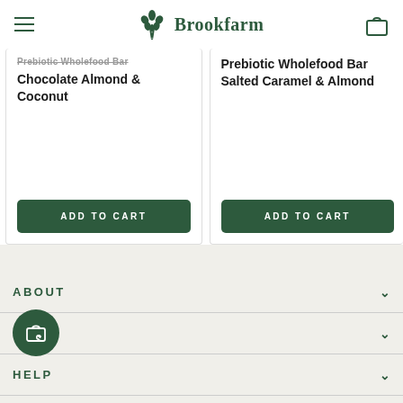Brookfarm
Prebiotic Wholefood Bar Chocolate Almond & Coconut
ADD TO CART
Prebiotic Wholefood Bar Salted Caramel & Almond
ADD TO CART
ABOUT
SHOP
HELP
SUBSCRIBE TODAY